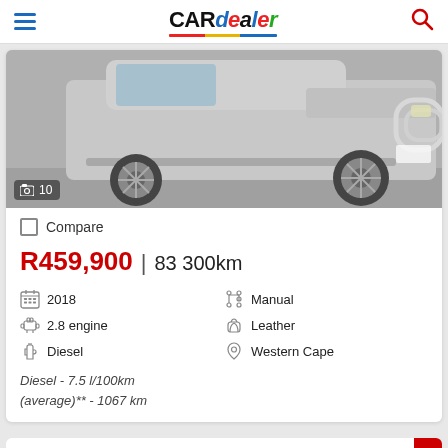CARdealer
[Figure (photo): Silver Toyota pickup truck/SUV front and side view, showing alloy wheels, running boards, and bull bar. Photo count badge showing 10 images.]
Compare
R459,900 | 83 300km
2018
Manual
2.8 engine
Leather
Diesel
Western Cape
Diesel - 7.5 l/100km (average)** - 1067 km